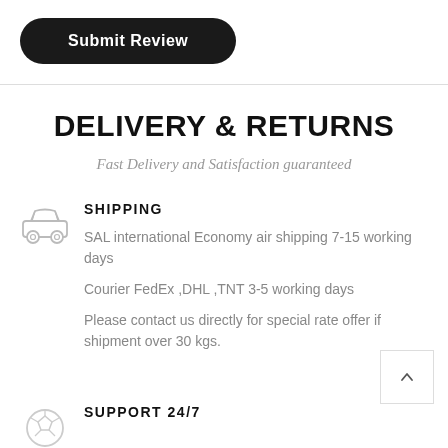Submit Review
DELIVERY & RETURNS
Fast Delivery and Satisfaction guaranteed
SHIPPING
SAL international Economy air shipping 7-15 working days
Courier FedEx ,DHL ,TNT 3-5 working days
Please contact us directly for special rate offer if shipment over 30 kgs.
SUPPORT 24/7